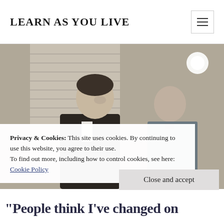LEARN AS YOU LIVE
[Figure (photo): Black and white photo of two men facing each other in an urban street setting. The man on the left has short hair and wears a dark jacket; the man on the right has a shaved head and wears a denim shirt.]
Privacy & Cookies: This site uses cookies. By continuing to use this website, you agree to their use.
To find out more, including how to control cookies, see here:
Cookie Policy
Close and accept
"People think I've changed on